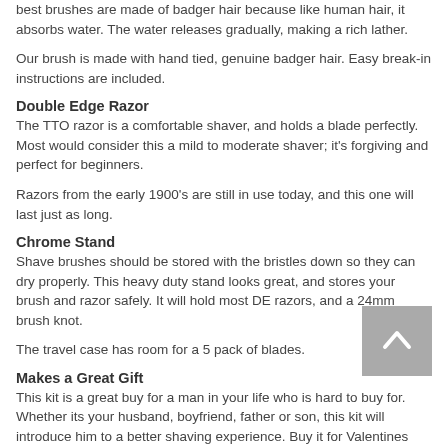best brushes are made of badger hair because like human hair, it absorbs water. The water releases gradually, making a rich lather.
Our brush is made with hand tied, genuine badger hair. Easy break-in instructions are included.
Double Edge Razor
The TTO razor is a comfortable shaver, and holds a blade perfectly. Most would consider this a mild to moderate shaver; it's forgiving and perfect for beginners.
Razors from the early 1900's are still in use today, and this one will last just as long.
Chrome Stand
Shave brushes should be stored with the bristles down so they can dry properly. This heavy duty stand looks great, and stores your brush and razor safely. It will hold most DE razors, and a 24mm brush knot.
The travel case has room for a 5 pack of blades.
Makes a Great Gift
This kit is a great buy for a man in your life who is hard to buy for. Whether its your husband, boyfriend, father or son, this kit will introduce him to a better shaving experience. Buy it for Valentines